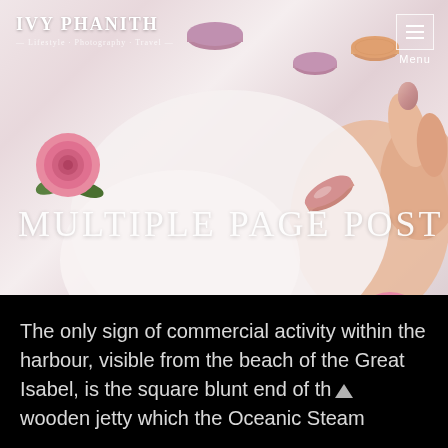[Figure (photo): Hero banner photo showing pink and purple macarons, pink roses, and a hand with rose-gold nails on a white marble surface. Decorative lifestyle food photography used as blog post header.]
IVY PHANITH
MULTIPLE PAGE POST
The only sign of commercial activity within the harbour, visible from the beach of the Great Isabel, is the square blunt end of the wooden jetty which the Oceanic Steam